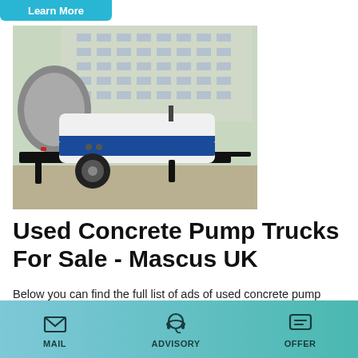Learn More
[Figure (photo): A white and blue concrete pump truck/trailer on a gravel ground with a multi-story building in the background.]
Used Concrete Pump Trucks For Sale - Mascus UK
Below you can find the full list of ads of used concrete pump trucks machines from construction sector. Click all brands of used concrete pump trucks if you want to check the available used concrete pump trucks machines sorted by brand. You can also narrow the search results of concrete pump trucks by
MAIL   ADVISORY   OFFER